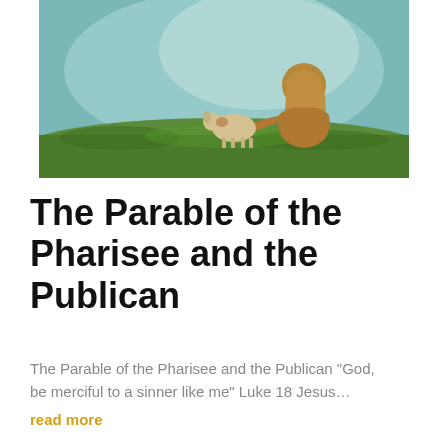[Figure (illustration): Painting of a robed figure kneeling and reaching out to a small lamb in a green meadow with a soft teal/blue background.]
The Parable of the Pharisee and the Publican
The Parable of the Pharisee and the Publican "God, be merciful to a sinner like me" Luke 18 Jesus…
read more